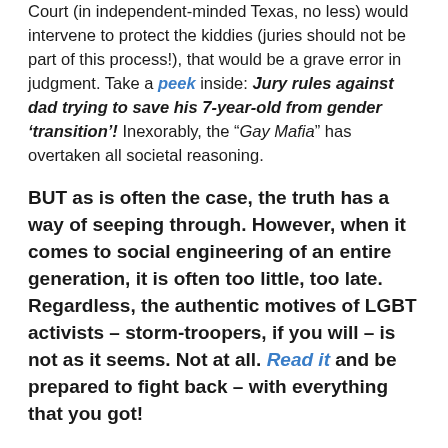Court (in independent-minded Texas, no less) would intervene to protect the kiddies (juries should not be part of this process!), that would be a grave error in judgment. Take a peek inside: Jury rules against dad trying to save his 7-year-old from gender ‘transition’! Inexorably, the “Gay Mafia” has overtaken all societal reasoning.
BUT as is often the case, the truth has a way of seeping through. However, when it comes to social engineering of an entire generation, it is often too little, too late. Regardless, the authentic motives of LGBT activists – storm-troopers, if you will – is not as it seems. Not at all. Read it and be prepared to fight back – with everything that you got!
AGAIN, whether in the U.S., the UK, or across the